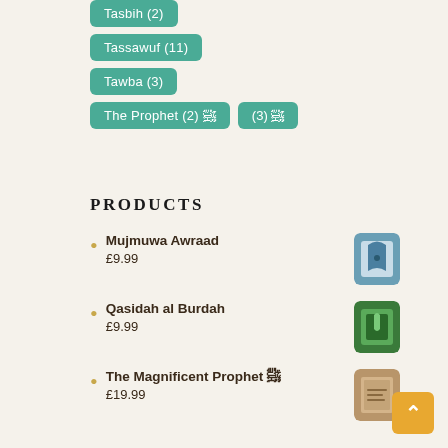Tasbih (2)
Tassawuf (11)
Tawba (3)
The Prophet (2) ص (3) ص
PRODUCTS
Mujmuwa Awraad £9.99
Qasidah al Burdah £9.99
The Magnificent Prophet ص £19.99